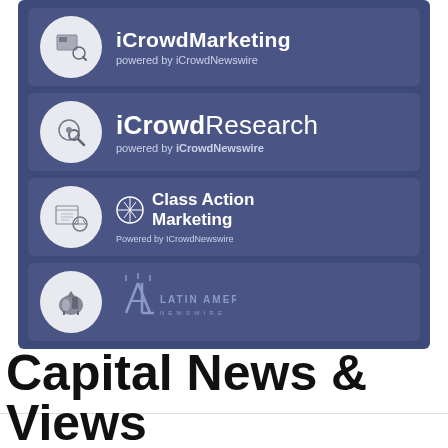[Figure (logo): iCrowdMarketing logo banner with circle icon and text 'iCrowdMarketing powered by iCrowdNewswire' on dark blue background]
[Figure (logo): iCrowdResearch logo banner with circle icon and text 'iCrowdResearch powered by iCrowdNewswire' on dark blue background]
[Figure (logo): Class Action Marketing logo banner with circle icon showing scales of justice and text 'Class Action Marketing Powered by iCrowdNewswire' on dark blue background]
[Figure (logo): Latin America Newswire logo banner with circle icon showing map of South America and stylized LA logo on dark blue background]
Capital News & Views